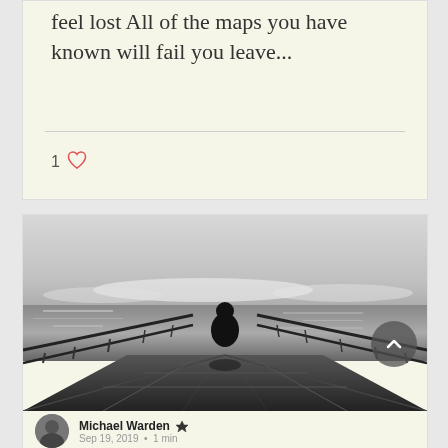feel lost All of the maps you have known will fail you leave...
1 ♡
[Figure (photo): Black and white photograph of a solitary figure standing on a railed observation deck or ferry deck, looking out over water. The person is shown from behind, silhouetted against a bright sky with distant shore. A circular dark button with a chevron/up-arrow icon is overlaid at the bottom right.]
Michael Warden 👑
Sep 19, 2019  •  1 min